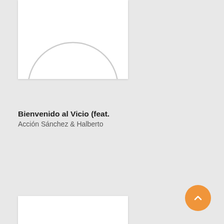[Figure (illustration): Album art placeholder — white card with light gray circle outline in center, partially cropped at top]
Bienvenido al Vicio (feat.
Acción Sánchez & Halberto
[Figure (illustration): Album art placeholder — white card with light gray circle outline in center]
Vacancy (feat. Blakk Soul)
KXNG Crooked & Joell Ortiz